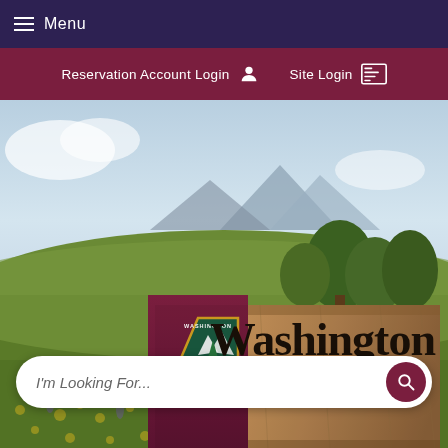Menu
Reservation Account Login   Site Login
[Figure (screenshot): Washington State Parks hero image showing a scenic landscape with wildflowers, mountains, and trees. Overlaid is the Washington State Parks wooden sign logo with the shield emblem and text 'Washington STATE PARKS']
I'm Looking For...